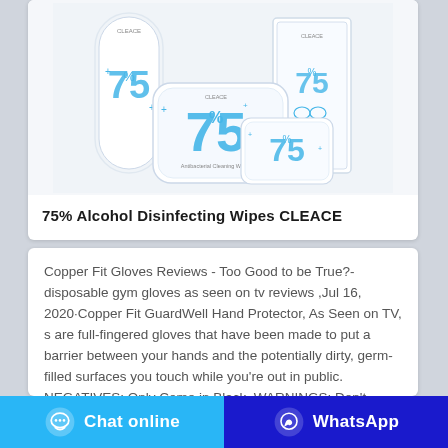[Figure (photo): Product photo showing 75% Alcohol Disinfecting Wipes CLEACE brand — multiple white packages with blue '75%' branding, including tall cylindrical dispenser, flat pouches, and rectangular box]
75% Alcohol Disinfecting Wipes CLEACE
Copper Fit Gloves Reviews - Too Good to be True?-disposable gym gloves as seen on tv reviews ,Jul 16, 2020·Copper Fit GuardWell Hand Protector, As Seen on TV, s are full-fingered gloves that have been made to put a barrier between your hands and the potentially dirty, germ-filled surfaces you touch while you're out in public. NEGATIVES: Only Come in Black. WARNINGS: Don't
Chat online
WhatsApp